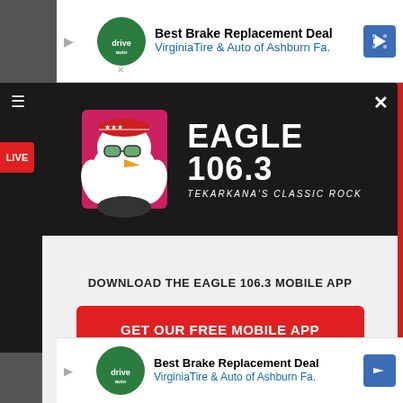[Figure (screenshot): Top advertisement banner: Best Brake Replacement Deal - VirginiaTire & Auto of Ashburn Fa.]
[Figure (logo): Eagle 106.3 Texarkana's Classic Rock radio station logo with eagle mascot wearing sunglasses and American flag bandana]
DOWNLOAD THE EAGLE 106.3 MOBILE APP
GET OUR FREE MOBILE APP
Also listen on: amazon alexa
[Figure (screenshot): Bottom advertisement banner: Best Brake Replacement Deal - VirginiaTire & Auto of Ashburn Fa.]